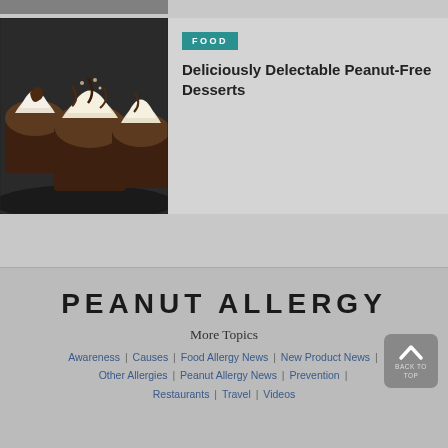[Figure (photo): Partial image visible at the very top of the page, cropped]
[Figure (photo): Photo of chocolate cupcakes with white frosting and chocolate drizzle]
FOOD
Deliciously Delectable Peanut-Free Desserts
PEANUT ALLERGY
More Topics
Awareness | Causes | Food Allergy News | New Product News | Other Allergies | Peanut Allergy News | Prevention | Restaurants | Travel | Videos